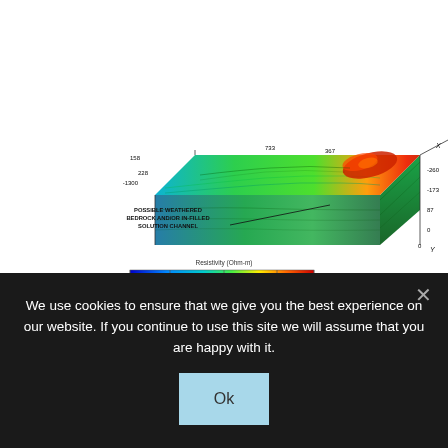[Figure (engineering-diagram): 3D electrical resistivity tomography model showing a subsurface block with color-coded resistivity values. A label points to a region identified as 'Possible Weathered Bedrock And/Or In-Filled Solution Channel'. X and Y axes are labeled. A resistivity color scale bar is shown below, ranging from 2 to 137 Ohm-m (blue=low to red=high). Axis tick values visible: 158, 228, -1300, 733, X, 367, -260, -173, 87, Y, 0, 0. Color bar ticks: 2, 5, 15, 46, 137.]
Electrical resistivity (ER) testing is an effective geophysical method to identify subsurface geologic hazards, stratigraphic variability, karst features, and hydrogeologic conditions. A typical single ER test utilizes an array of electrodes placed in a straight line at a consistent spacing across a target area. This ... [Read
We use cookies to ensure that we give you the best experience on our website. If you continue to use this site we will assume that you are happy with it.